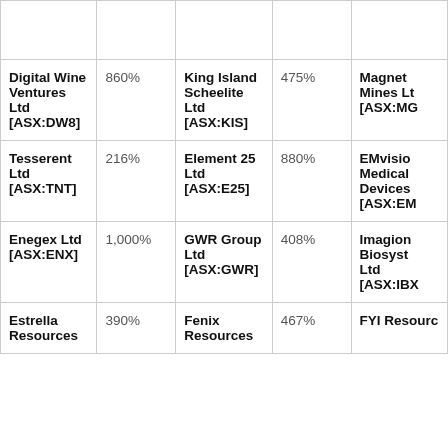| Digital Wine Ventures Ltd [ASX:DW8] | 860% | King Island Scheelite Ltd [ASX:KIS] | 475% | Magnet... Mines Lt... [ASX:MG...] |
| Tesserent Ltd [ASX:TNT] | 216% | Element 25 Ltd [ASX:E25] | 880% | EMvisio... Medical... Devices [ASX:EM...] |
| Enegex Ltd [ASX:ENX] | 1,000% | GWR Group Ltd [ASX:GWR] | 408% | Imagion... Biosyst... Ltd [ASX:IBX...] |
| Estrella Resources | 390% | Fenix Resources | 467% | FYI Resourc... |